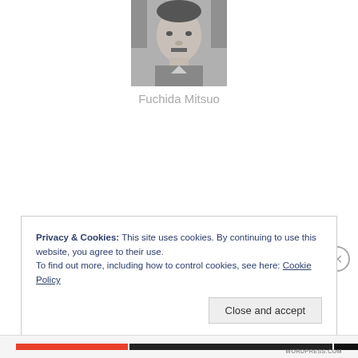[Figure (photo): Black and white portrait photo of Fuchida Mitsuo, a Japanese man in formal attire]
Fuchida Mitsuo
Advertisements
Privacy & Cookies: This site uses cookies. By continuing to use this website, you agree to their use.
To find out more, including how to control cookies, see here: Cookie Policy
Close and accept